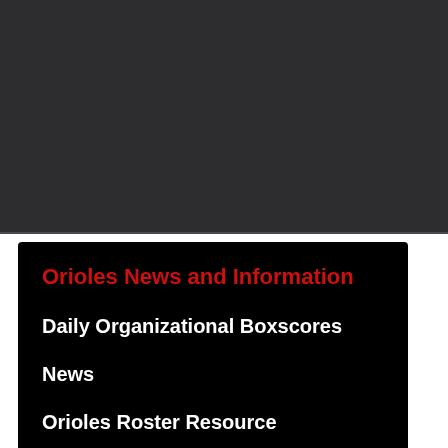Orioles News and Information
Daily Organizational Boxscores
News
Orioles Roster Resource